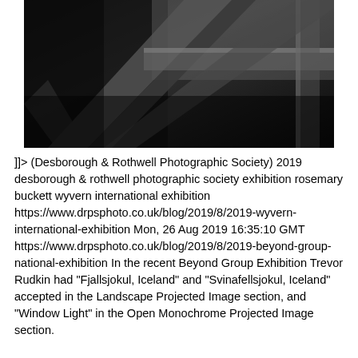[Figure (photo): Dark monochrome photograph showing wooden beams or planks, industrial or architectural interior, high contrast black and white image]
]]> (Desborough & Rothwell Photographic Society) 2019 desborough & rothwell photographic society exhibition rosemary buckett wyvern international exhibition https://www.drpsphoto.co.uk/blog/2019/8/2019-wyvern-international-exhibition Mon, 26 Aug 2019 16:35:10 GMT https://www.drpsphoto.co.uk/blog/2019/8/2019-beyond-group-national-exhibition In the recent Beyond Group Exhibition Trevor Rudkin had "Fjallsjokul, Iceland" and "Svinafellsjokul, Iceland" accepted in the Landscape Projected Image section, and "Window Light" in the Open Monochrome Projected Image section.